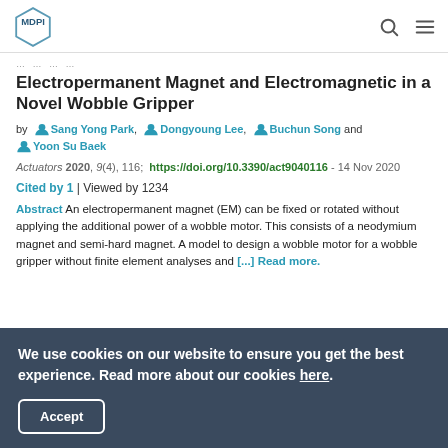MDPI
Electropermanent Magnet and Electromagnetic in a Novel Wobble Gripper
by Sang Yong Park, Dongyoung Lee, Buchun Song and Yoon Su Baek
Actuators 2020, 9(4), 116; https://doi.org/10.3390/act9040116 - 14 Nov 2020
Cited by 1 | Viewed by 1234
Abstract An electropermanent magnet (EM) can be fixed or rotated without applying the additional power of a wobble motor. This consists of a neodymium magnet and semi-hard magnet. A model to design a wobble motor for a wobble gripper without finite element analyses and [...] Read more.
We use cookies on our website to ensure you get the best experience. Read more about our cookies here.